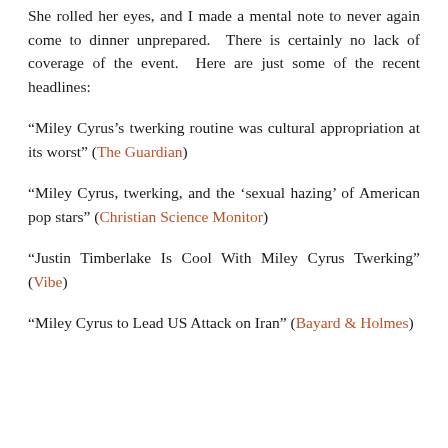She rolled her eyes, and I made a mental note to never again come to dinner unprepared.  There is certainly no lack of coverage of the event.  Here are just some of the recent headlines:
“Miley Cyrus’s twerking routine was cultural appropriation at its worst” (The Guardian)
“Miley Cyrus, twerking, and the ‘sexual hazing’ of American pop stars” (Christian Science Monitor)
“Justin Timberlake Is Cool With Miley Cyrus Twerking” (Vibe)
“Miley Cyrus to Lead US Attack on Iran” (Bayard & Holmes)